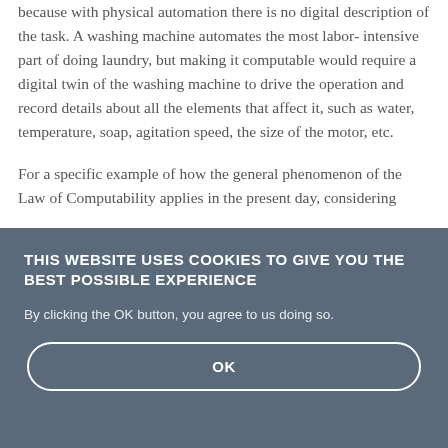because with physical automation there is no digital description of the task. A washing machine automates the most labor- intensive part of doing laundry, but making it computable would require a digital twin of the washing machine to drive the operation and record details about all the elements that affect it, such as water, temperature, soap, agitation speed, the size of the motor, etc.
For a specific example of how the general phenomenon of the Law of Computability applies in the present day, considering
THIS WEBSITE USES COOKIES TO GIVE YOU THE BEST POSSIBLE EXPERIENCE
By clicking the OK button, you agree to us doing so.
OK